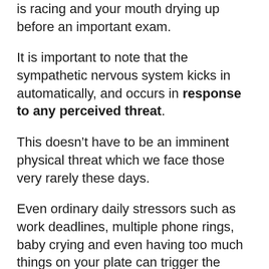is racing and your mouth drying up before an important exam.
It is important to note that the sympathetic nervous system kicks in automatically, and occurs in response to any perceived threat.
This doesn't have to be an imminent physical threat which we face those very rarely these days.
Even ordinary daily stressors such as work deadlines, multiple phone rings, baby crying and even having too much things on your plate can trigger the system.
Imbalance in these systems will mean that your body is subconsciously pretty much functioning 24/7 in the stressed stage.